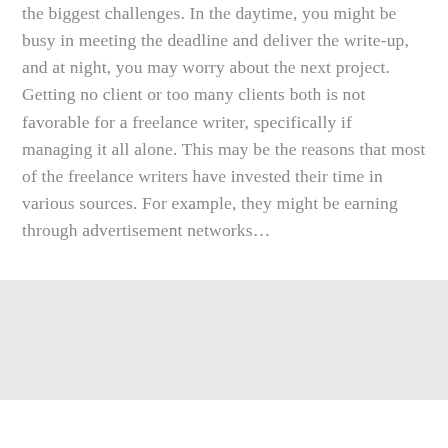the biggest challenges. In the daytime, you might be busy in meeting the deadline and deliver the write-up, and at night, you may worry about the next project. Getting no client or too many clients both is not favorable for a freelance writer, specifically if managing it all alone. This may be the reasons that most of the freelance writers have invested their time in various sources. For example, they might be earning through advertisement networks...
CONTINUE READING →